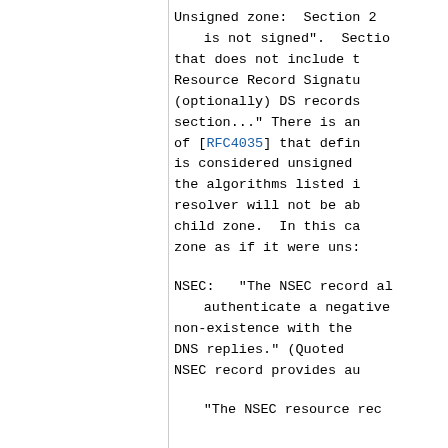Unsigned zone:  Section 2... is not signed".  Section ... that does not include the Resource Record Signature (optionally) DS records section..." There is an of [RFC4035] that defin is considered unsigned the algorithms listed i resolver will not be ab child zone.  In this ca zone as if it were uns:
NSEC:   "The NSEC record al authenticate a negative non-existence with the DNS replies." (Quoted NSEC record provides au
"The NSEC resource rec...